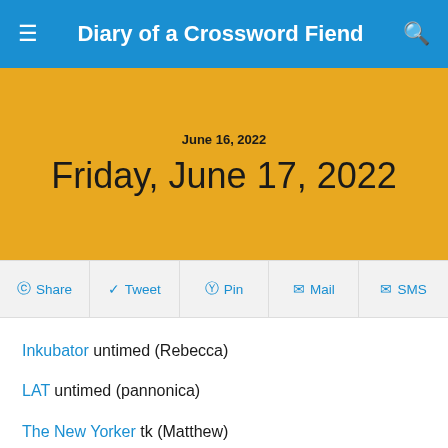Diary of a Crossword Fiend
Friday, June 17, 2022
June 16, 2022
Share  Tweet  Pin  Mail  SMS
Inkubator untimed (Rebecca)
LAT untimed (pannonica)
The New Yorker tk (Matthew)
NYT 4:19 (Amy)